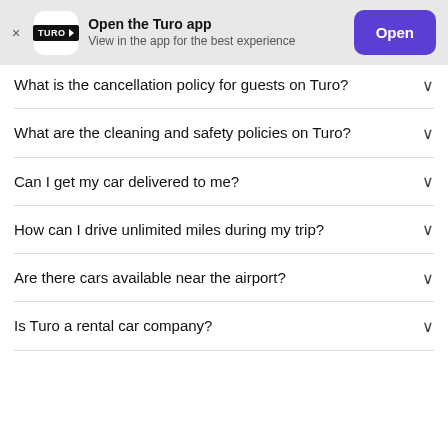[Figure (screenshot): Turo app banner with logo, 'Open the Turo app' text, and Open button]
What is the cancellation policy for guests on Turo?
What are the cleaning and safety policies on Turo?
Can I get my car delivered to me?
How can I drive unlimited miles during my trip?
Are there cars available near the airport?
Is Turo a rental car company?